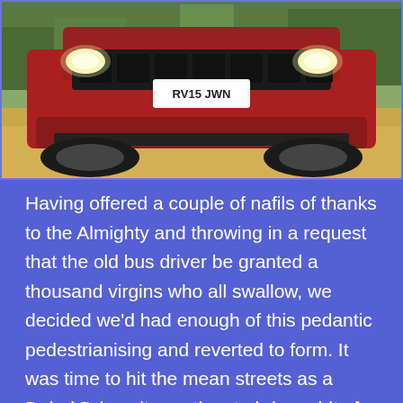[Figure (photo): Front view of a red Jeep Grand Cherokee SRT with license plate RV15 JWN, parked on dry grass with trees in the background]
Having offered a couple of nafils of thanks to the Almighty and throwing in a request that the old bus driver be granted a thousand virgins who all swallow, we decided we'd had enough of this pedantic pedestrianising and reverted to form. It was time to hit the mean streets as a Dubai Driver, it was time to bring a bit of 'shock and awe' to the